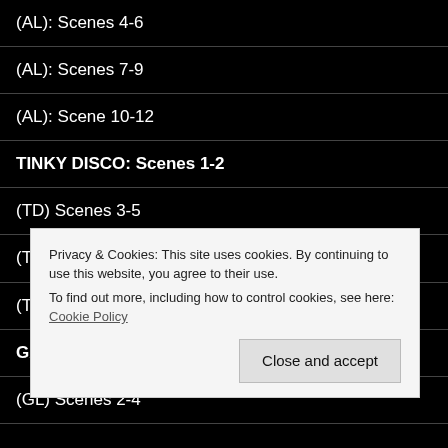(AL): Scenes 4-6
(AL): Scenes 7-9
(AL): Scene 10-12
TINKY DISCO: Scenes 1-2
(TD) Scenes 3-5
(TD): Scenes 6-8a
(TD): Scenes 8b-9
GANGSTALAND: Scene 1
(GL) Scenes 2-4
Privacy & Cookies: This site uses cookies. By continuing to use this website, you agree to their use.
To find out more, including how to control cookies, see here: Cookie Policy